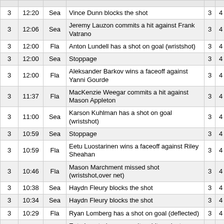| Pd | Time | Team | Event | Fla | Sea |
| --- | --- | --- | --- | --- | --- |
| 3 | 12:20 | Sea | Vince Dunn blocks the shot | 3 | 4 |
| 3 | 12:06 | Sea | Jeremy Lauzon commits a hit against Frank Vatrano | 3 | 4 |
| 3 | 12:00 | Fla | Anton Lundell has a shot on goal (wristshot) | 3 | 4 |
| 3 | 12:00 | Sea | Stoppage | 3 | 4 |
| 3 | 12:00 | Fla | Aleksander Barkov wins a faceoff against Yanni Gourde | 3 | 4 |
| 3 | 11:37 | Fla | MacKenzie Weegar commits a hit against Mason Appleton | 3 | 4 |
| 3 | 11:00 | Sea | Karson Kuhlman has a shot on goal (wristshot) | 3 | 4 |
| 3 | 10:59 | Sea | Stoppage | 3 | 4 |
| 3 | 10:59 | Fla | Eetu Luostarinen wins a faceoff against Riley Sheahan | 3 | 4 |
| 3 | 10:46 | Fla | Mason Marchment missed shot (wristshot,over net) | 3 | 4 |
| 3 | 10:38 | Sea | Haydn Fleury blocks the shot | 3 | 4 |
| 3 | 10:34 | Sea | Haydn Fleury blocks the shot | 3 | 4 |
| 3 | 10:29 | Fla | Ryan Lomberg has a shot on goal (deflected) | 3 | 4 |
| 3 | 10:24 | Fla | Eetu Luostarinen commits a hit against Haydn Fleury | 3 | 4 |